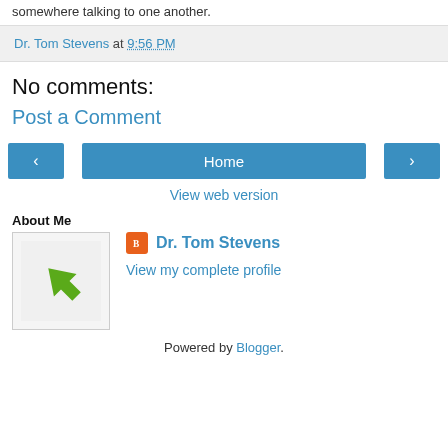somewhere talking to one another.
Dr. Tom Stevens at 9:56 PM
No comments:
Post a Comment
[Figure (other): Navigation buttons: left arrow, Home, right arrow]
View web version
About Me
[Figure (photo): Profile photo with green upward arrow on light background]
Dr. Tom Stevens
View my complete profile
Powered by Blogger.